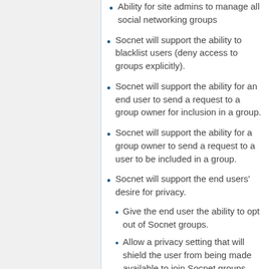Ability for site admins to manage all social networking groups
Socnet will support the ability to blacklist users (deny access to groups explicitly).
Socnet will support the ability for an end user to send a request to a group owner for inclusion in a group.
Socnet will support the ability for a group owner to send a request to a user to be included in a group.
Socnet will support the end users' desire for privacy.
Give the end user the ability to opt out of Socnet groups.
Allow a privacy setting that will shield the user from being made available to join Socnet groups.
Socnet will display the end users's